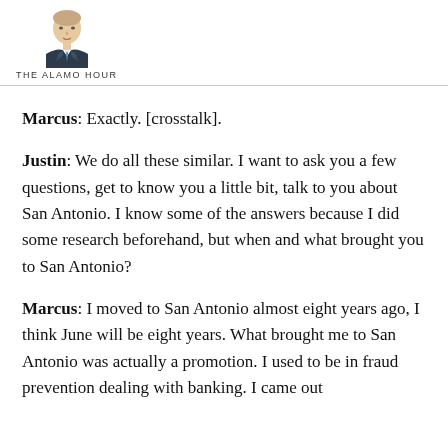[Figure (illustration): Illustrated portrait of a man in a suit and tie, with the logo text 'THE ALAMO HOUR' below]
Marcus: Exactly. [crosstalk].
Justin: We do all these similar. I want to ask you a few questions, get to know you a little bit, talk to you about San Antonio. I know some of the answers because I did some research beforehand, but when and what brought you to San Antonio?
Marcus: I moved to San Antonio almost eight years ago, I think June will be eight years. What brought me to San Antonio was actually a promotion. I used to be in fraud prevention dealing with banking. I came out